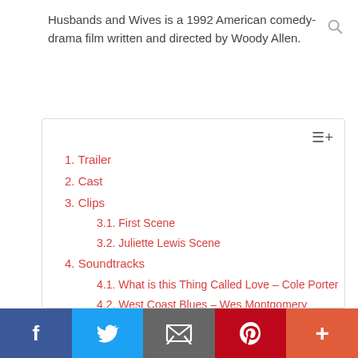Husbands and Wives is a 1992 American comedy-drama film written and directed by Woody Allen.
1. Trailer
2. Cast
3. Clips
3.1. First Scene
3.2. Juliette Lewis Scene
4. Soundtracks
4.1. What is this Thing Called Love – Cole Porter
4.2. West Coast Blues – Wes Montgomery
4.3. Symphony No. 9 – Gustav Malher
4.4. List on IMDB
5. Husbands and Wives: Critical Response
5.1. IMDB